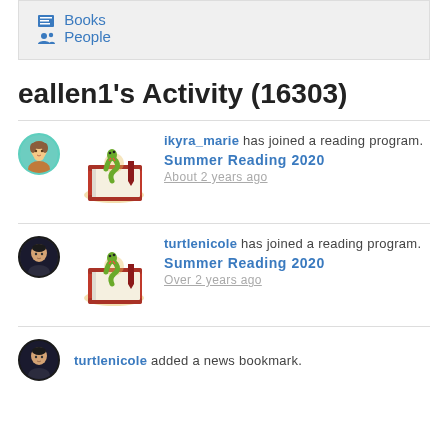Books
People
eallen1's Activity (16303)
ikyra_marie has joined a reading program. Summer Reading 2020 About 2 years ago
turtlenicole has joined a reading program. Summer Reading 2020 Over 2 years ago
turtlenicole added a news bookmark.